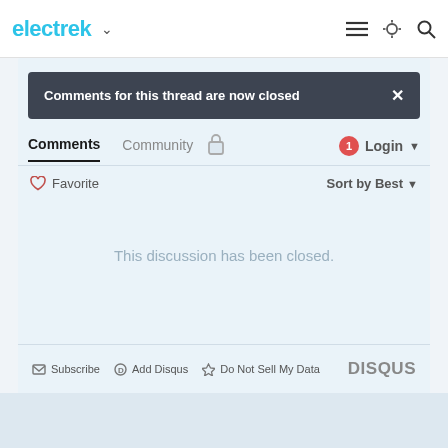electrek
Comments for this thread are now closed
Comments  Community  🔒  1  Login
♡ Favorite   Sort by Best
This discussion has been closed.
Subscribe  Add Disqus  Do Not Sell My Data  DISQUS